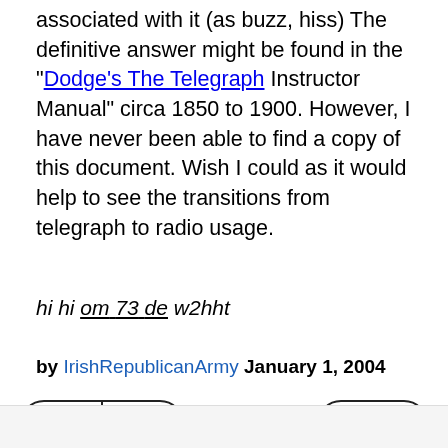associated with it (as buzz, hiss) The definitive answer might be found in the "Dodge's The Telegraph" Instructor Manual" circa 1850 to 1900. However, I have never been able to find a copy of this document. Wish I could as it would help to see the transitions from telegraph to radio usage.
hi hi om 73 de w2hht
by IrishRepublicanArmy January 1, 2004
👍 89 | 👎 38    FLAG
Get the hi hi mug.